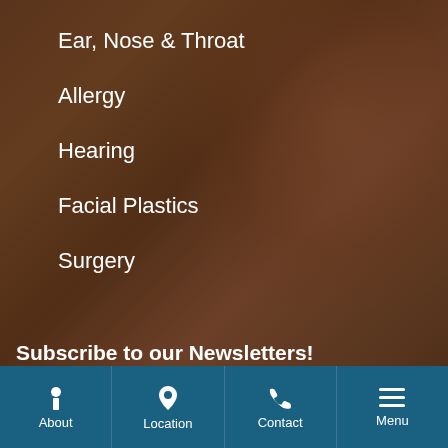Ear, Nose & Throat
Allergy
Hearing
Facial Plastics
Surgery
Subscribe to our Newsletters!
Receive the latest news from Willamette Ear, Nose, Throat and Facial Plastic Surgery.
Full Name
About | Location | Contact | Menu